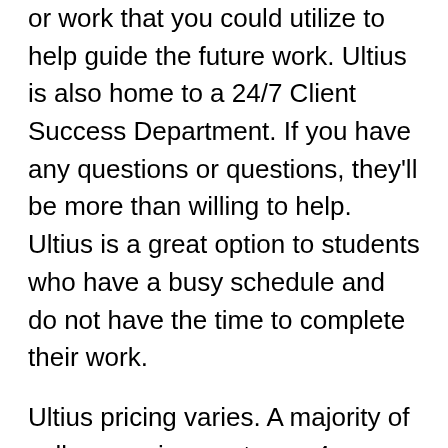or work that you could utilize to help guide the future work. Ultius is also home to a 24/7 Client Success Department. If you have any questions or questions, they'll be more than willing to help. Ultius is a great option to students who have a busy schedule and do not have the time to complete their work.
Ultius pricing varies. A majority of college assignments are 4 pages long, with 275 words. Order as far forward as a month. The undergraduate price of $200 is the cheapest, but the cost will increase if the paper needs to be done promptly. Masters and doctoral